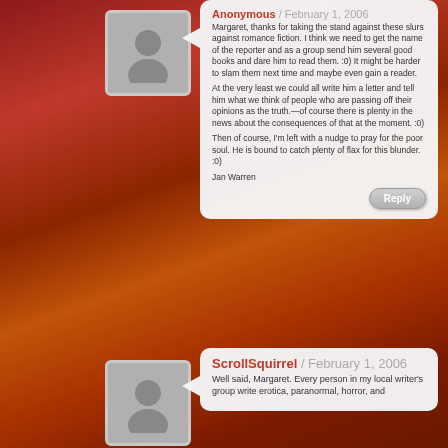Anonymous / February 1, 2006
Margaret, thanks for taking the stand against these slurs against romance fiction. I think we need to get the name of the reporter and as a group send him several good books and dare him to read them. :0) It might be harder to slam them next time and maybe even gain a reader.
At the very least we could all write him a letter and tell him what we think of people who are passing off their opinions as the truth.—of course there is plenty in the news about the consequences of that at the moment. :0)
Then of course, I’m left with a nudge to pray for the poor soul. He is bound to catch plenty of flax for this blunder. :0)
Jan Warren
Reply
ScrollSquirrel / February 1, 2006
Well said, Margaret. Every person in my local writer’s group write erotica, paranormal, horror, and